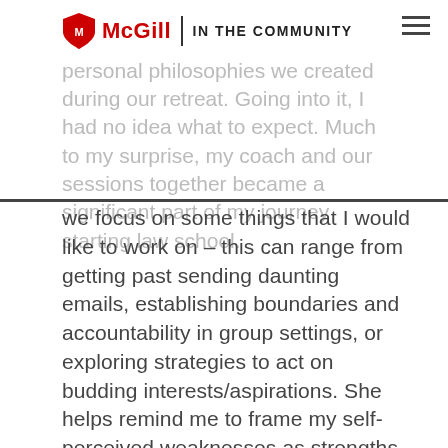McGill | IN THE COMMUNITY
with a life coach who would best meet our needs based on the personal philosophies we created during our retreat. Going into it, I had no idea what to expect. Much to my surprise, my coach and our sessions together became a significant part of my journey starting law school.
we focus on some things that I would like to work on – this can range from getting past sending daunting emails, establishing boundaries and accountability in group settings, or exploring strategies to act on budding interests/aspirations. She helps remind me to frame my self-perceived weaknesses as strengths. She also helps me tune in to my values and personal philosophy to reaffirm the differences I want to make.